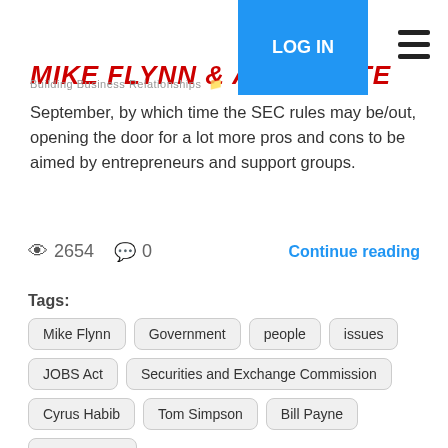Mike Flynn & Associates | Building Business Relationships | LOG IN
September, by which time the SEC rules may be/out, opening the door for a lot more pros and cons to be aimed by entrepreneurs and support groups.
2654  0  Continue reading
Tags: Mike Flynn | Government | people | issues | JOBS Act | Securities and Exchange Commission | Cyrus Habib | Tom Simpson | Bill Payne | Frank Morris
[Figure (screenshot): Social sharing buttons: Facebook Like/Share, LinkedIn Share, Twitter Tweet, Pinterest Save with counts 0, 0]